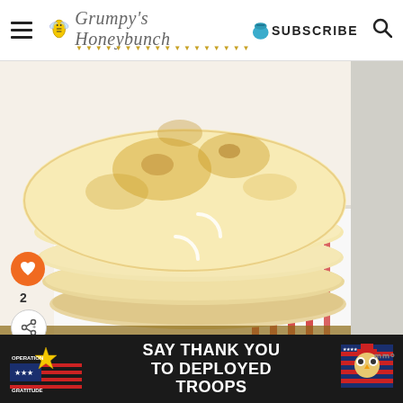Grumpy's Honeybunch | SUBSCRIBE
[Figure (photo): Stack of homemade flour tortillas or flatbreads on a white cloth with red stripes, viewed from above at an angle]
2
[Figure (photo): Thumbnail of Crispy Pork Belly Sliders recipe]
WHAT'S NEXT → Crispy Pork Belly Sliders
[Figure (photo): Advertisement banner: Operation Gratitude - SAY THANK YOU TO DEPLOYED TROOPS]